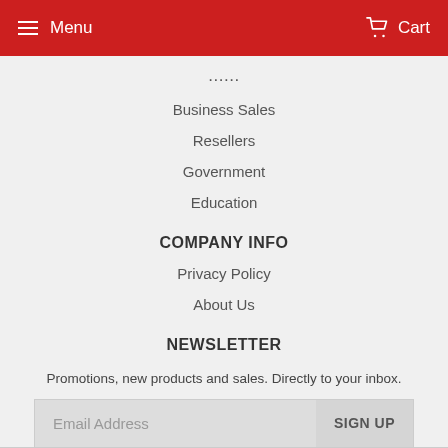Menu  Cart
...
Business Sales
Resellers
Government
Education
COMPANY INFO
Privacy Policy
About Us
NEWSLETTER
Promotions, new products and sales. Directly to your inbox.
Email Address  SIGN UP